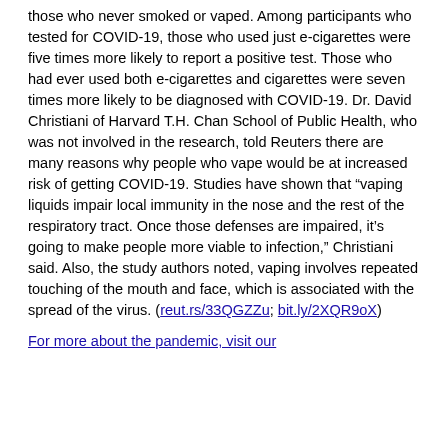those who never smoked or vaped. Among participants who tested for COVID-19, those who used just e-cigarettes were five times more likely to report a positive test. Those who had ever used both e-cigarettes and cigarettes were seven times more likely to be diagnosed with COVID-19. Dr. David Christiani of Harvard T.H. Chan School of Public Health, who was not involved in the research, told Reuters there are many reasons why people who vape would be at increased risk of getting COVID-19. Studies have shown that "vaping liquids impair local immunity in the nose and the rest of the respiratory tract. Once those defenses are impaired, it's going to make people more viable to infection," Christiani said. Also, the study authors noted, vaping involves repeated touching of the mouth and face, which is associated with the spread of the virus. (reut.rs/33QGZZu; bit.ly/2XQR9oX)
For more about the pandemic, visit our...